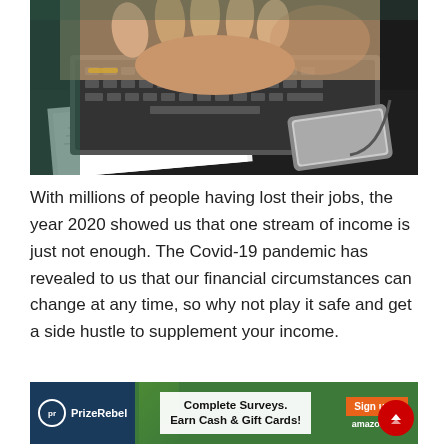[Figure (photo): Hands typing on a laptop keyboard with papers and a smartphone on a dark desk surface]
With millions of people having lost their jobs, the year 2020 showed us that one stream of income is just not enough. The Covid-19 pandemic has revealed to us that our financial circumstances can change at any time, so why not play it safe and get a side hustle to supplement your income.
[Figure (screenshot): PrizeRebel advertisement banner: Complete Surveys. Earn Cash & Gift Cards! Sign up button, amazon logo]